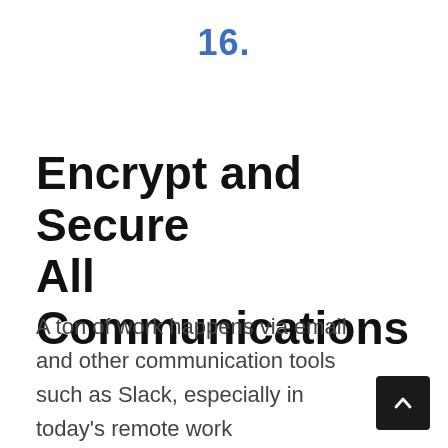16.
Encrypt and Secure All Communications
A ton of work happens via email and other communication tools such as Slack, especially in today's remote work environment.